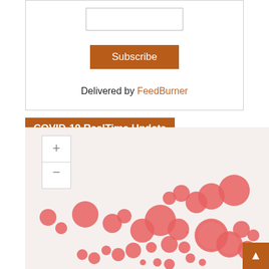[Figure (screenshot): Email input field (empty text box)]
Subscribe
Delivered by FeedBurner
COVID-19 RealTime Update
[Figure (map): COVID-19 bubble map showing red circles of varying sizes representing case counts across different geographic regions. Map includes zoom controls (+ and -) in the upper left. A back-to-top button appears in the lower right corner.]